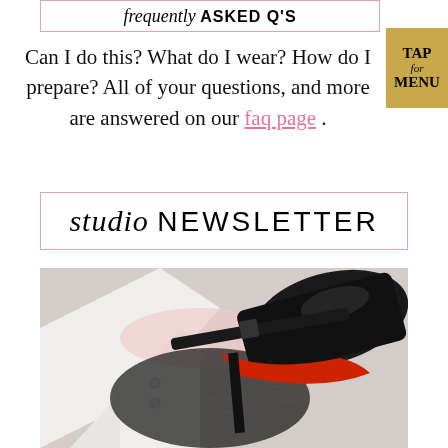frequently ASKED Q'S
Can I do this? What do I wear? How do I prepare? All of your questions, and more are answered on our faq page .
studio NEWSLETTER
[Figure (photo): Flat lay photo of fashion items including a white dress shirt with buttons, black lace lingerie, and a black high heel shoe with red sole (Louboutin style).]